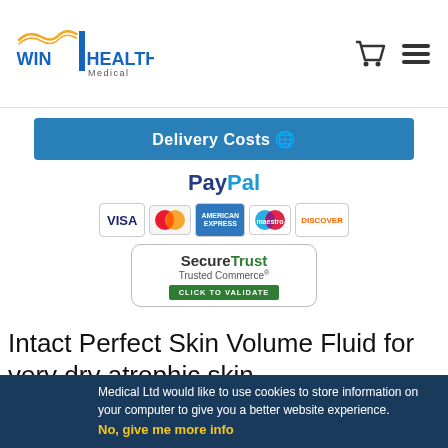Win Health Medical - logo and navigation
[Figure (other): Win Health Medical logo with orange swoosh and blue bar, cart icon and hamburger menu icon]
Delivery Costs
[Figure (logo): PayPal logo with blue text, payment card icons (VISA, Mastercard, American Express, Maestro, Discover), and SecureTrust Trusted Commerce badge]
Intact Perfect Skin Volume Fluid for very dry atrophic skin
Perfect Skin Volume Fluid creates natural volume for challenging and thirsty very dry skin. The Fluid acts naturally age-related degeneration of connective tissues as well as degeneration of subcutaneous fatty layer. Perfect
Win Health Medical Ltd would like to use cookies to store information on your computer to give you a better website experience.
No, give me more info